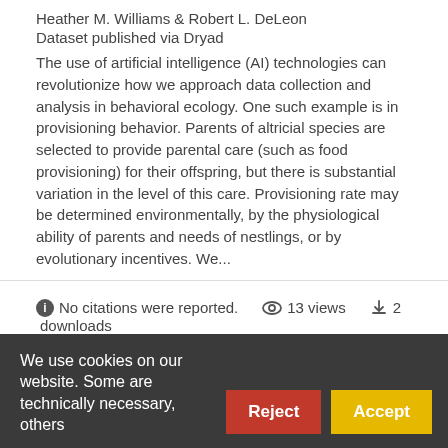Heather M. Williams & Robert L. DeLeon
Dataset published via Dryad
The use of artificial intelligence (AI) technologies can revolutionize how we approach data collection and analysis in behavioral ecology. One such example is in provisioning behavior. Parents of altricial species are selected to provide parental care (such as food provisioning) for their offspring, but there is substantial variation in the level of this care. Provisioning rate may be determined environmentally, by the physiological ability of parents and needs of nestlings, or by evolutionary incentives. We...
No citations were reported. 13 views 2 downloads
https://doi.org/10.5061/dryad.sqv9s4n1v
We use cookies on our website. Some are technically necessary, others help us...